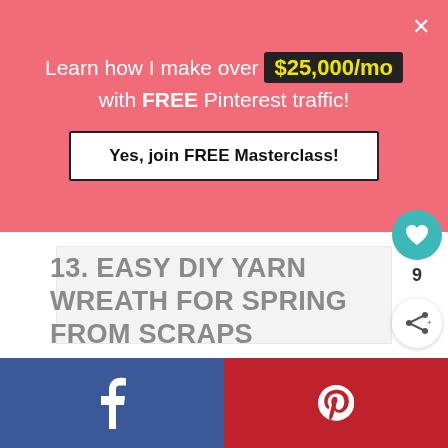Learn how I make over $25,000/mo with FREE Pinterest traffic!
Yes, join FREE Masterclass!
[Figure (other): Advertisement placeholder area (white/light gray box)]
13. EASY DIY YARN WREATH FOR SPRING FROM SCRAPS
9
f
p